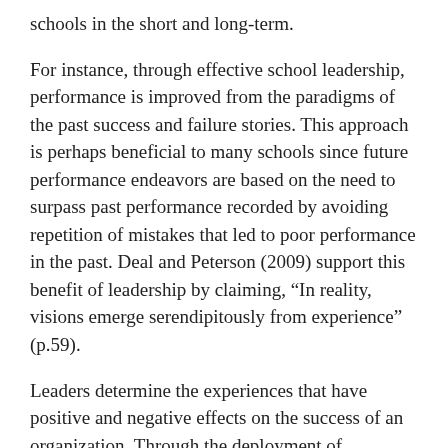schools in the short and long-term.
For instance, through effective school leadership, performance is improved from the paradigms of the past success and failure stories. This approach is perhaps beneficial to many schools since future performance endeavors are based on the need to surpass past performance recorded by avoiding repetition of mistakes that led to poor performance in the past. Deal and Peterson (2009) support this benefit of leadership by claiming, “In reality, visions emerge serendipitously from experience” (p.59).
Leaders determine the experiences that have positive and negative effects on the success of an organization. Through the deployment of appropriate leadership techniques, effort is then put to address each of the challenges to enhance the performance of schools. This position suggests a positive correlation between effective leadership and school performance